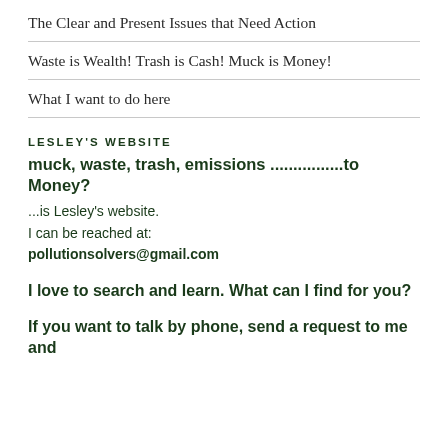The Clear and Present Issues that Need Action
Waste is Wealth!  Trash is Cash! Muck is Money!
What I want to do here
LESLEY'S WEBSITE
muck, waste, trash, emissions ................to Money?
...is Lesley's website.
I can be reached at:
pollutionsolvers@gmail.com
I love to search and learn.  What can I find for you?
If you want to talk by phone, send a request to me and